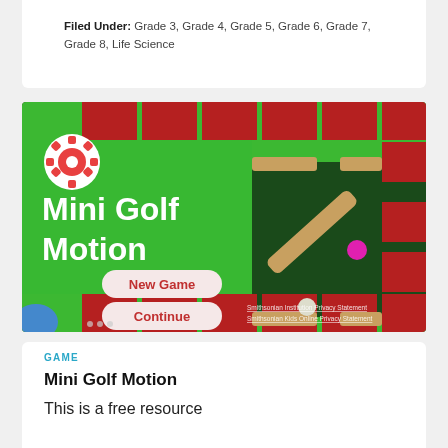Filed Under: Grade 3, Grade 4, Grade 5, Grade 6, Grade 7, Grade 8, Life Science
[Figure (screenshot): Screenshot of the Mini Golf Motion game showing a green mini golf course with red brick borders, a dark green putting area, a tan/brown diagonal bumper, a magenta ball, a white ball, and a menu with 'New Game', 'Continue', 'Credits' buttons. A gear/settings icon appears top left. Smithsonian Institution Privacy Statement text appears bottom right.]
GAME
Mini Golf Motion
This is a free resource